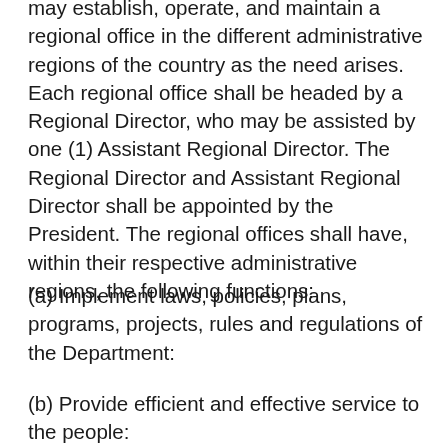may establish, operate, and maintain a regional office in the different administrative regions of the country as the need arises. Each regional office shall be headed by a Regional Director, who may be assisted by one (1) Assistant Regional Director. The Regional Director and Assistant Regional Director shall be appointed by the President. The regional offices shall have, within their respective administrative regions, the following functions:
(a) Implement laws, policies, plans, programs, projects, rules and regulations of the Department:
(b) Provide efficient and effective service to the people: